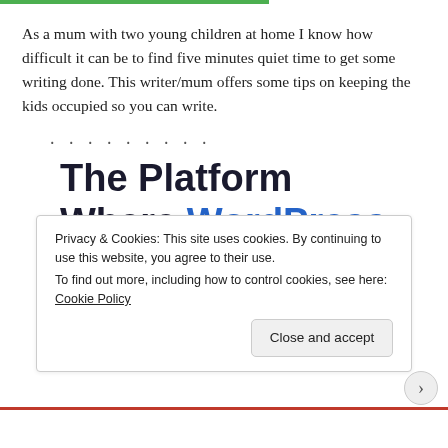As a mum with two young children at home I know how difficult it can be to find five minutes quiet time to get some writing done. This writer/mum offers some tips on keeping the kids occupied so you can write.
.........
The Platform Where WordPress Works Best
Privacy & Cookies: This site uses cookies. By continuing to use this website, you agree to their use.
To find out more, including how to control cookies, see here: Cookie Policy